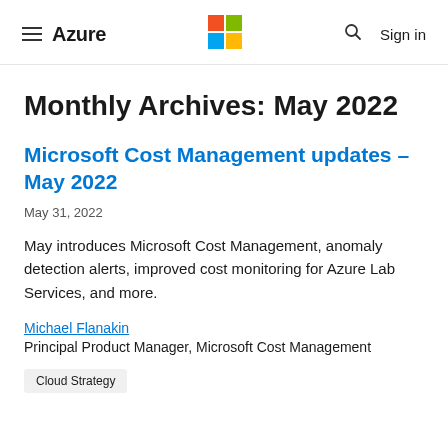Azure | Microsoft logo | Search | Sign in
Monthly Archives: May 2022
Microsoft Cost Management updates – May 2022
May 31, 2022
May introduces Microsoft Cost Management, anomaly detection alerts, improved cost monitoring for Azure Lab Services, and more.
Michael Flanakin
Principal Product Manager, Microsoft Cost Management
Cloud Strategy